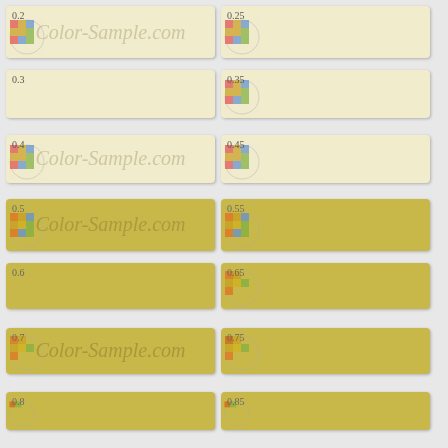[Figure (infographic): Color sample swatches from Color-Sample.com showing HSL/value swatches labeled 0.2 through 0.85 in two columns, with watermark text and globe logo icons]
0.2
0.25
0.3
0.35
0.4
0.45
0.5
0.55
0.6
0.65
0.7
0.75
0.8
0.85